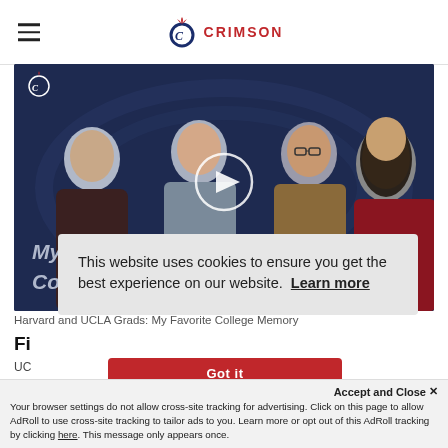Crimson Education logo and navigation
[Figure (screenshot): Video thumbnail showing four young adults against a dark blue background with text 'My Favourite College Memory' and a play button overlay. Crimson Education logo in top-left corner.]
Harvard and UCLA Grads: My Favorite College Memory
Fi...
UC...
This website uses cookies to ensure you get the best experience on our website.  Learn more
Accept and Close ✕
Your browser settings do not allow cross-site tracking for advertising. Click on this page to allow AdRoll to use cross-site tracking to tailor ads to you. Learn more or opt out of this AdRoll tracking by clicking here. This message only appears once.